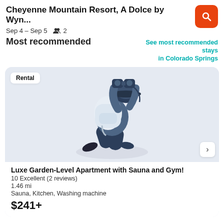Cheyenne Mountain Resort, A Dolce by Wyndham...
Sep 4 – Sep 5   2
Most recommended
See most recommended stays in Colorado Springs
[Figure (illustration): Illustration of a traveler with a backpack looking through binoculars, viewed from above/behind. The figure is depicted in a modern flat style with blue/grey tones on a light blue-grey background.]
Rental
Luxe Garden-Level Apartment with Sauna and Gym!
10 Excellent (2 reviews)
1.46 mi
Sauna, Kitchen, Washing machine
$241+